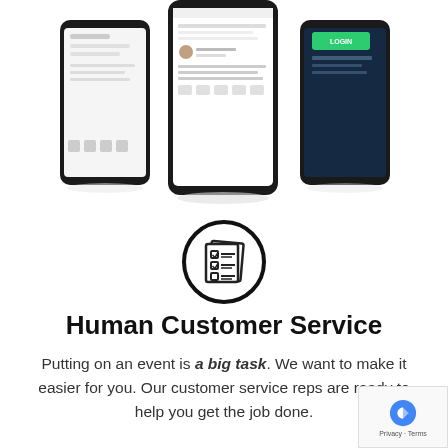[Figure (photo): Three smartphones displayed showing a mobile app interface with social/event listing content. Center phone shows a post with comments, left phone shows a menu/navigation screen, right phone shows a dark screen with a green button labeled 'BOOK'.]
[Figure (illustration): Black circle icon containing a checklist/document illustration with checkboxes and lines representing text.]
Human Customer Service
Putting on an event is a big task. We want to make it easier for you. Our customer service reps are ready to help you get the job done.